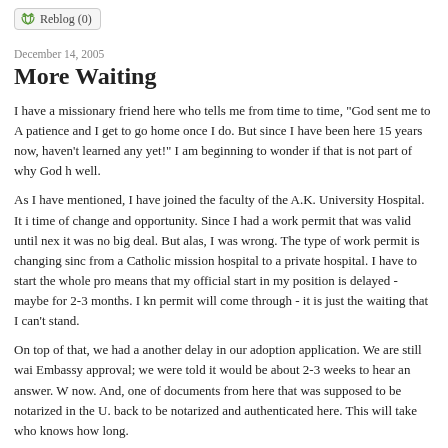[Figure (other): Reblog button with recycling icon and text 'Reblog (0)']
December 14, 2005
More Waiting
I have a missionary friend here who tells me from time to time, "God sent me to A patience and I get to go home once I do. But since I have been here 15 years now, haven't learned any yet!" I am beginning to wonder if that is not part of why God h well.
As I have mentioned, I have joined the faculty of the A.K. University Hospital. It i time of change and opportunity. Since I had a work permit that was valid until nex it was no big deal. But alas, I was wrong. The type of work permit is changing sinc from a Catholic mission hospital to a private hospital. I have to start the whole pro means that my official start in my position is delayed - maybe for 2-3 months. I kn permit will come through - it is just the waiting that I can't stand.
On top of that, we had a another delay in our adoption application. We are still wai Embassy approval; we were told it would be about 2-3 weeks to hear an answer. W now. And, one of documents from here that was supposed to be notarized in the U. back to be notarized and authenticated here. This will take who knows how long.
So, currently we are waiting on documents from the Kenya Ministry of Immigratio Ministry of Foreign Affairs. Given the recent Cabinet shuffle, we are not too hope replies. But we will just have to wait. We have no other choice.
Maybe if I learn patience, I can go home too...